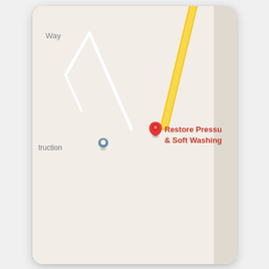[Figure (map): Google Maps screenshot showing a map with a red location pin for 'Restore Pressure & Soft Washing', a gray pin labeled 'truction' (partial word), a teal marker for 'Creek Lodge', 'Georgia W Fire Resto' label (partial), a yellow diagonal road, white roads, and a blue pond shape. The map is displayed inside a phone/card UI frame with rounded corners and a drop shadow, on a light gray background.]